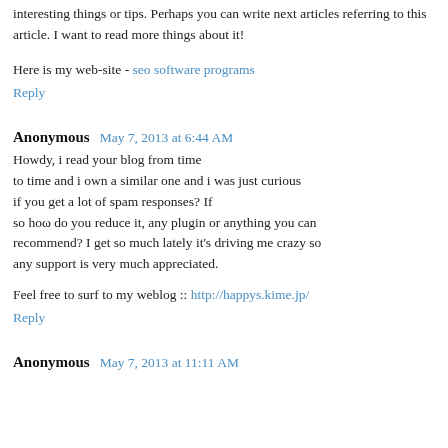interesting things or tips. Perhaps you can write next articles referring to this article. I want to read more things about it!
Here is my web-site - seo software programs
Reply
Anonymous  May 7, 2013 at 6:44 AM
Howdy, i read your blog from time to time and i own a similar one and i was just curious if you get a lot of spam responses? If so hoω do you reduce it, any plugin or anything you can recommend? I get so much lately it's driving me crazy so any support is very much appreciated.
Feel free to surf to my weblog :: http://happys.kime.jp/
Reply
Anonymous  May 7, 2013 at 11:11 AM